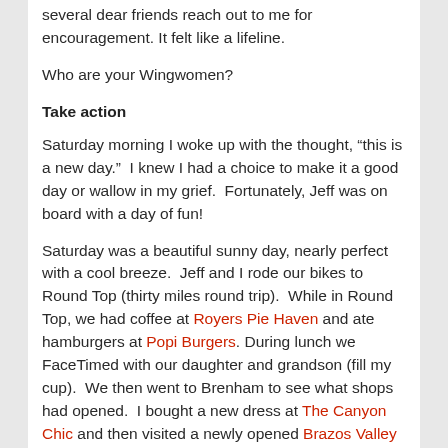several dear friends reach out to me for encouragement. It felt like a lifeline.
Who are your Wingwomen?
Take action
Saturday morning I woke up with the thought, “this is a new day.”  I knew I had a choice to make it a good day or wallow in my grief.  Fortunately, Jeff was on board with a day of fun!
Saturday was a beautiful sunny day, nearly perfect with a cool breeze.  Jeff and I rode our bikes to Round Top (thirty miles round trip).  While in Round Top, we had coffee at Royers Pie Haven and ate hamburgers at Popi Burgers. During lunch we FaceTimed with our daughter and grandson (fill my cup).  We then went to Brenham to see what shops had opened.  I bought a new dress at The Canyon Chic and then visited a newly opened Brazos Valley Brewing Co that happened to have live music (heaven).  We took crawfish home for a backyard picnic.  I